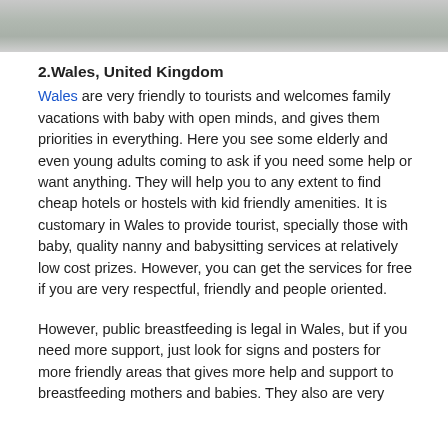[Figure (photo): Top portion of an outdoor photo, showing light-colored blurred background, possibly snow or water]
2.Wales, United Kingdom
Wales are very friendly to tourists and welcomes family vacations with baby with open minds, and gives them priorities in everything. Here you see some elderly and even young adults coming to ask if you need some help or want anything. They will help you to any extent to find cheap hotels or hostels with kid friendly amenities. It is customary in Wales to provide tourist, specially those with baby, quality nanny and babysitting services at relatively low cost prizes. However, you can get the services for free if you are very respectful, friendly and people oriented.
However, public breastfeeding is legal in Wales, but if you need more support, just look for signs and posters for more friendly areas that gives more help and support to breastfeeding mothers and babies. They also are very...